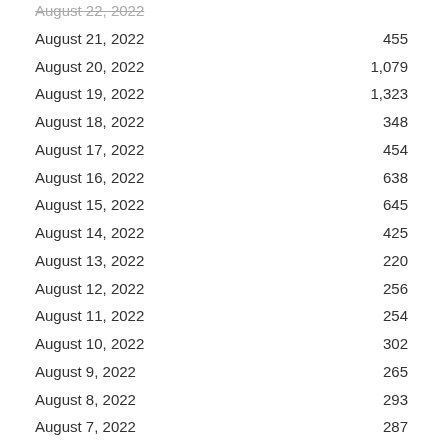| Date | Count |
| --- | --- |
| August 22, 2022 |  |
| August 21, 2022 | 455 |
| August 20, 2022 | 1,079 |
| August 19, 2022 | 1,323 |
| August 18, 2022 | 348 |
| August 17, 2022 | 454 |
| August 16, 2022 | 638 |
| August 15, 2022 | 645 |
| August 14, 2022 | 425 |
| August 13, 2022 | 220 |
| August 12, 2022 | 256 |
| August 11, 2022 | 254 |
| August 10, 2022 | 302 |
| August 9, 2022 | 265 |
| August 8, 2022 | 293 |
| August 7, 2022 | 287 |
| August 6, 2022 | 246 |
| August 5, 2022 | 313 |
| August 4, 2022 | 304 |
| August 3, 2022 | 284 |
| August 2, 2022 | 300 |
| August 1, 2022 | 335 |
| July 31, 2022 | 171 |
| July 30, 2022 | 203 |